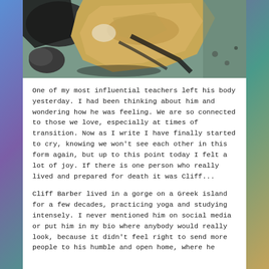[Figure (photo): Close-up photograph of rocks on a surface, showing tan/golden colored rocks with dark shadows and patches, against a greenish-grey background resembling a rocky coastal or ground scene.]
One of my most influential teachers left his body yesterday. I had been thinking about him and wondering how he was feeling. We are so connected to those we love, especially at times of transition. Now as I write I have finally started to cry, knowing we won't see each other in this form again, but up to this point today I felt a lot of joy. If there is one person who really lived and prepared for death it was Cliff...
Cliff Barber lived in a gorge on a Greek island for a few decades, practicing yoga and studying intensely. I never mentioned him on social media or put him in my bio where anybody would really look, because it didn't feel right to send more people to his humble and open home, where he